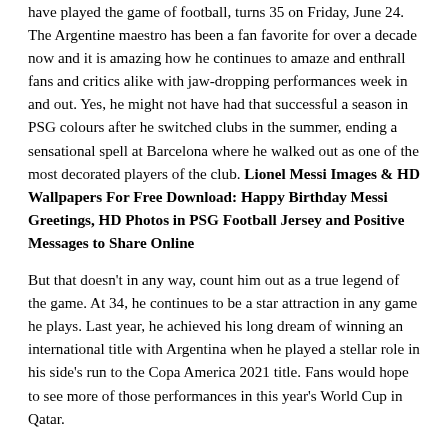have played the game of football, turns 35 on Friday, June 24. The Argentine maestro has been a fan favorite for over a decade now and it is amazing how he continues to amaze and enthrall fans and critics alike with jaw-dropping performances week in and out. Yes, he might not have had that successful a season in PSG colours after he switched clubs in the summer, ending a sensational spell at Barcelona where he walked out as one of the most decorated players of the club. Lionel Messi Images & HD Wallpapers For Free Download: Happy Birthday Messi Greetings, HD Photos in PSG Football Jersey and Positive Messages to Share Online
But that doesn't in any way, count him out as a true legend of the game. At 34, he continues to be a star attraction in any game he plays. Last year, he achieved his long dream of winning an international title with Argentina when he played a stellar role in his side's run to the Copa America 2021 title. Fans would hope to see more of those performances in this year's World Cup in Qatar.
Here are five records that Messi currently holds: